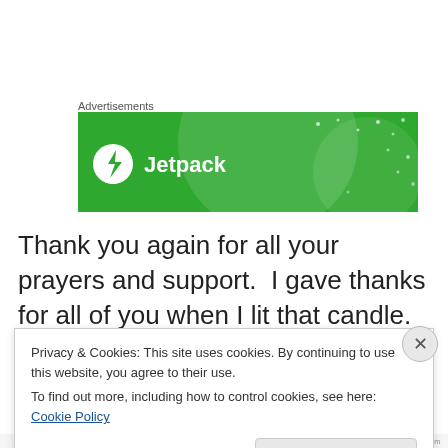Advertisements
[Figure (logo): Jetpack advertisement banner — green background with white Jetpack logo (lightning bolt icon in white circle) and white text 'Jetpack']
Thank you again for all your prayers and support.  I gave thanks for all of you when I lit that candle.
Tom
Privacy & Cookies: This site uses cookies. By continuing to use this website, you agree to their use.
To find out more, including how to control cookies, see here: Cookie Policy
Close and accept